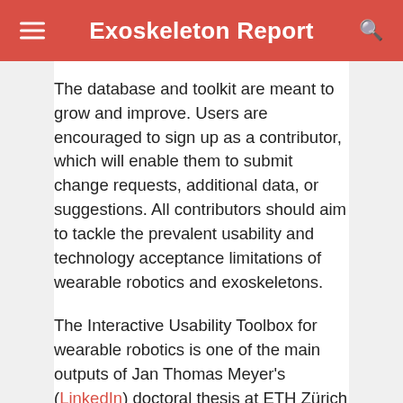Exoskeleton Report
The database and toolkit are meant to grow and improve. Users are encouraged to sign up as a contributor, which will enable them to submit change requests, additional data, or suggestions. All contributors should aim to tackle the prevalent usability and technology acceptance limitations of wearable robotics and exoskeletons.
The Interactive Usability Toolbox for wearable robotics is one of the main outputs of Jan Thomas Meyer's (LinkedIn) doctoral thesis at ETH Zürich (link). The toolbox builds upon the collected information and conclusions from the Survey Results and Analysis of Usability Evaluation Practices of Use in Wearable Robotics.
Reference: